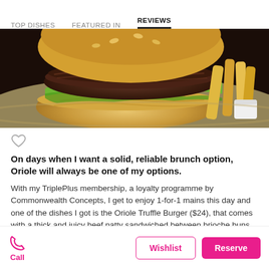TOP DISHES   FEATURED IN   REVIEWS
[Figure (photo): Close-up photo of a burger with a thick beef patty on a brioche bun with lettuce, served on a plate with fries on the side]
On days when I want a solid, reliable brunch option, Oriole will always be one of my options.
With my TriplePlus membership, a loyalty programme by Commonwealth Concepts, I get to enjoy 1-for-1 mains this day and one of the dishes I got is the Oriole Truffle Burger ($24), that comes with a thick and juicy beef patty sandwiched between brioche buns.